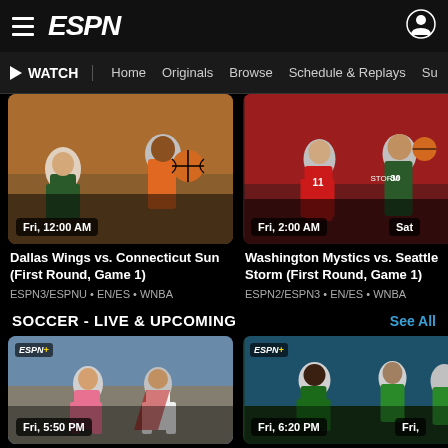ESPN - WATCH navigation bar
[Figure (screenshot): ESPN app interface showing Watch navigation with Home, Originals, Browse, Schedule & Replays, Su... menu items]
[Figure (photo): Dallas Wings vs. Connecticut Sun basketball game thumbnail - Fri, 12:00 AM]
Dallas Wings vs. Connecticut Sun (First Round, Game 1)
ESPN3/ESPNU • EN/ES • WNBA
[Figure (photo): Washington Mystics vs. Seattle Storm basketball game thumbnail - Fri, 2:00 AM]
Washington Mystics vs. Seattle Storm (First Round, Game 1)
ESPN2/ESPN3 • EN/ES • WNBA
SOCCER - LIVE & UPCOMING
See All
[Figure (photo): Soccer game thumbnail - Fri, 5:50 PM - ESPN+]
[Figure (photo): Soccer game thumbnail - Fri, 6:20 PM - ESPN+]